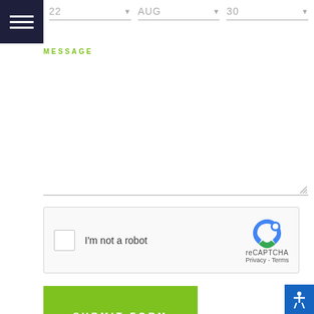[Figure (screenshot): Navigation hamburger menu icon — three white horizontal lines on dark navy background]
22   AUG   30
MESSAGE
[Figure (screenshot): reCAPTCHA widget with checkbox labeled I'm not a robot and Google reCAPTCHA logo with Privacy and Terms links]
SUBMIT FORM
[Figure (screenshot): Blue accessibility icon button in bottom-right corner]